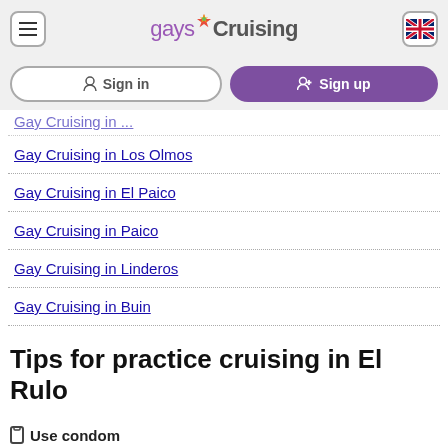gaysCruising
Gay Cruising in Los Olmos
Gay Cruising in El Paico
Gay Cruising in Paico
Gay Cruising in Linderos
Gay Cruising in Buin
Tips for practice cruising in El Rulo
Use condom
To avoid sexually transmitted diseases, always use a condom. When finished, remember to collect everything (condom wrappers, tissues, etc.) and leave the environment clean.